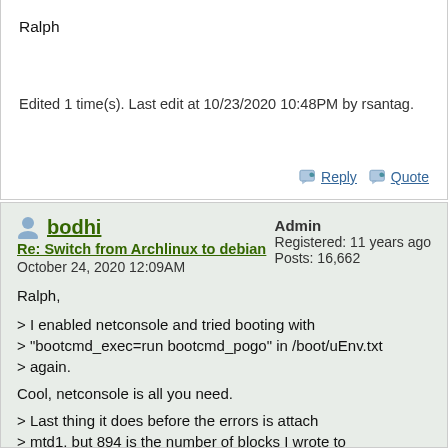Ralph
Edited 1 time(s). Last edit at 10/23/2020 10:48PM by rsantag.
Reply  Quote
bodhi
Re: Switch from Archlinux to debian
October 24, 2020 12:09AM
Admin
Registered: 11 years ago
Posts: 16,662
Ralph,

> I enabled netconsole and tried booting with
> "bootcmd_exec=run bootcmd_pogo" in /boot/uEnv.txt
> again.

Cool, netconsole is all you need.

> Last thing it does before the errors is attach
> mtd1, but 894 is the number of blocks I wrote to